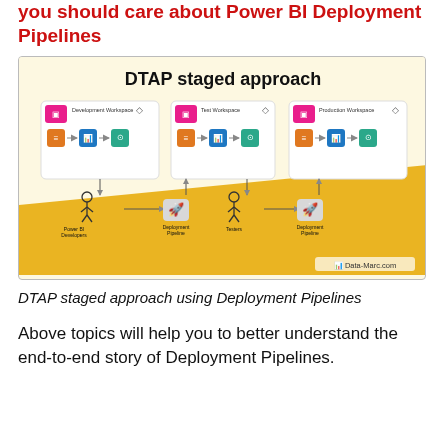you should care about Power BI Deployment Pipelines
[Figure (infographic): DTAP staged approach diagram showing Development Workspace, Test Workspace, and Production Workspace connected via Deployment Pipelines. Power BI Developers feed into Development, Deployment Pipeline connects to Test, Testers review, then another Deployment Pipeline connects to Production. Each workspace contains dataset, report, and dashboard icons. Watermark: Data-Marc.com]
DTAP staged approach using Deployment Pipelines
Above topics will help you to better understand the end-to-end story of Deployment Pipelines.